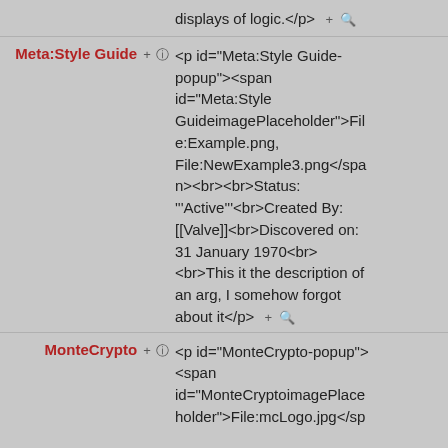displays of logic.</p>  + 🔍
Meta:Style Guide + ℹ
<p id="Meta:Style Guide-popup"><span id="Meta:Style GuideimagePlaceholder">File:Example.png, File:NewExample3.png</span><br><br>Status: '''Active'''<br>Created By: [[Valve]]<br>Discovered on: 31 January 1970<br><br>This it the description of an arg, I somehow forgot about it</p>  + 🔍
MonteCrypto + ℹ
<p id="MonteCrypto-popup"><span id="MonteCryptoimagePlaceholder">File:mcLogo.jpg</sp...